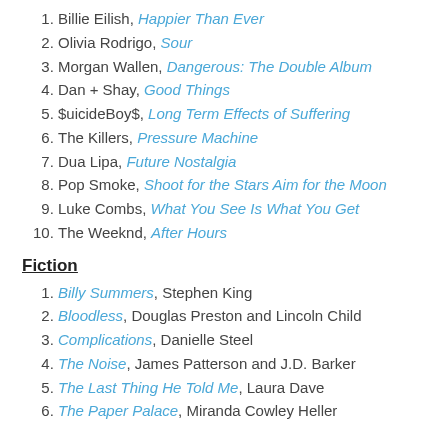1. Billie Eilish, Happier Than Ever
2. Olivia Rodrigo, Sour
3. Morgan Wallen, Dangerous: The Double Album
4. Dan + Shay, Good Things
5. $uicideBoy$, Long Term Effects of Suffering
6. The Killers, Pressure Machine
7. Dua Lipa, Future Nostalgia
8. Pop Smoke, Shoot for the Stars Aim for the Moon
9. Luke Combs, What You See Is What You Get
10. The Weeknd, After Hours
Fiction
1. Billy Summers, Stephen King
2. Bloodless, Douglas Preston and Lincoln Child
3. Complications, Danielle Steel
4. The Noise, James Patterson and J.D. Barker
5. The Last Thing He Told Me, Laura Dave
6. The Paper Palace, Miranda Cowley Heller